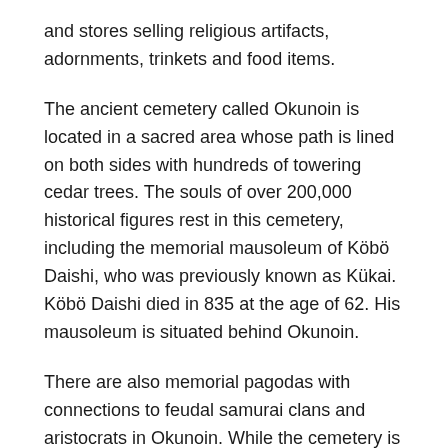and stores selling religious artifacts, adornments, trinkets and food items.
The ancient cemetery called Okunoin is located in a sacred area whose path is lined on both sides with hundreds of towering cedar trees. The souls of over 200,000 historical figures rest in this cemetery, including the memorial mausoleum of Köbö Daishi, who was previously known as Kükai. Köbö Daishi died in 835 at the age of 62. His mausoleum is situated behind Okunoin.
There are also memorial pagodas with connections to feudal samurai clans and aristocrats in Okunoin. While the cemetery is rich in history and tradition, there are some things about it that are rather unconventional, such as headstones that are sponsored by major Japanese companies. Interestingly, the tallest and largest of the headstones was established by a